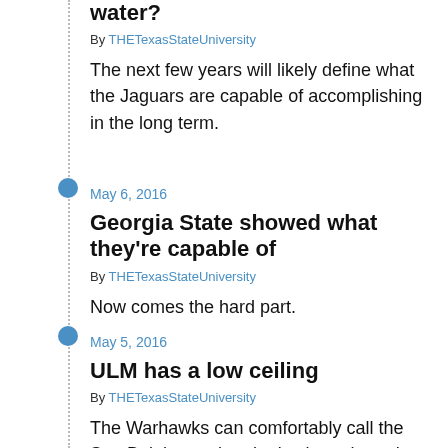water?
By THETexasStateUniversity
The next few years will likely define what the Jaguars are capable of accomplishing in the long term.
May 6, 2016
Georgia State showed what they're capable of
By THETexasStateUniversity
Now comes the hard part.
May 5, 2016
ULM has a low ceiling
By THETexasStateUniversity
The Warhawks can comfortably call the Sun Belt home, but that's about the only sure thing ULM